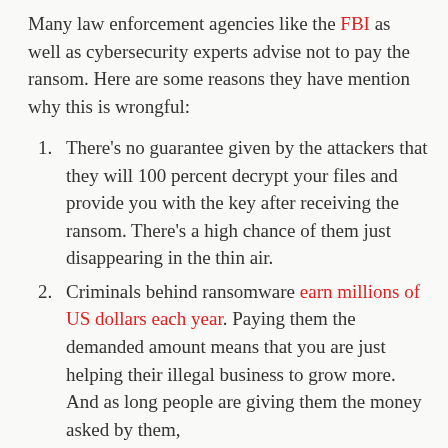Many law enforcement agencies like the FBI as well as cybersecurity experts advise not to pay the ransom. Here are some reasons they have mention why this is wrongful:
There's no guarantee given by the attackers that they will 100 percent decrypt your files and provide you with the key after receiving the ransom. There's a high chance of them just disappearing in the thin air.
Criminals behind ransomware earn millions of US dollars each year. Paying them the demanded amount means that you are just helping their illegal business to grow more. And as long people are giving them the money asked by them, not only they will continue to grow their